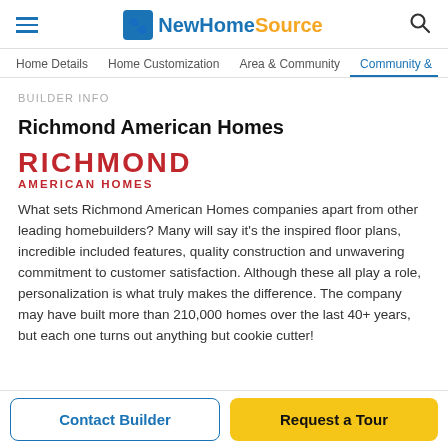NewHomeSource
Home Details | Home Customization | Area & Community | Community &
BUILDER INFO
Richmond American Homes
[Figure (logo): Richmond American Homes red text logo]
What sets Richmond American Homes companies apart from other leading homebuilders? Many will say it's the inspired floor plans, incredible included features, quality construction and unwavering commitment to customer satisfaction. Although these all play a role, personalization is what truly makes the difference. The company may have built more than 210,000 homes over the last 40+ years, but each one turns out anything but cookie cutter!
Contact Builder
Request a Tour